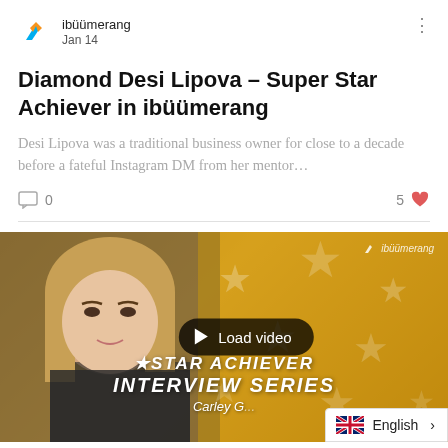ibüümerang  Jan 14
Diamond Desi Lipova – Super Star Achiever in ibüümerang
Desi Lipova was a traditional business owner for close to a decade before a fateful Instagram DM from her mentor…
0  5
[Figure (photo): Video thumbnail showing a woman's face on the left with a golden star-patterned background on the right, a 'Load video' button overlay in the center, and text overlay reading 'SUPERSTAR ACHIEVER INTERVIEW SERIES' and 'Carley G...' at the bottom. An ibüümerang logo is visible in the top right of the thumbnail.]
English >